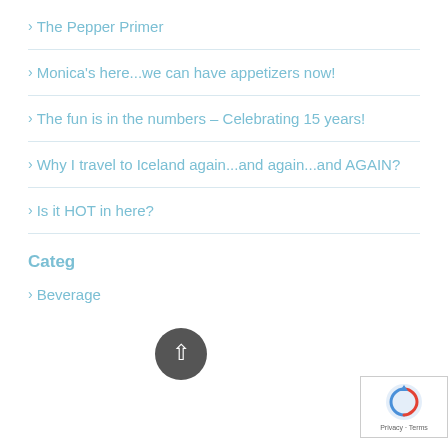> The Pepper Primer
> Monica's here...we can have appetizers now!
> The fun is in the numbers – Celebrating 15 years!
> Why I travel to Iceland again...and again...and AGAIN?
> Is it HOT in here?
Categories
> Beverage